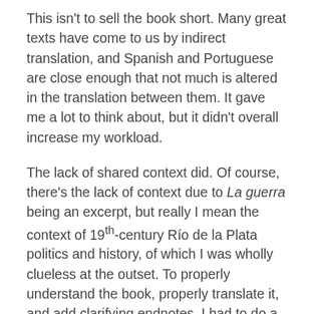This isn't to sell the book short. Many great texts have come to us by indirect translation, and Spanish and Portuguese are close enough that not much is altered in the translation between them. It gave me a lot to think about, but it didn't overall increase my workload.
The lack of shared context did. Of course, there's the lack of context due to La guerra being an excerpt, but really I mean the context of 19th-century Río de la Plata politics and history, of which I was wholly clueless at the outset. To properly understand the book, properly translate it, and add clarifying endnotes, I had to do a great deal of research, far beyond the base level you'd expect with any translation project. Many passages were unintelligible to me on first read, and only revealed their meaning months later, after I'd read just the